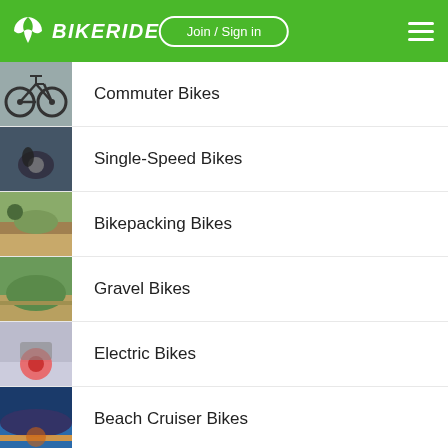BIKERIDE — Join / Sign in
Commuter Bikes
Single-Speed Bikes
Bikepacking Bikes
Gravel Bikes
Electric Bikes
Beach Cruiser Bikes